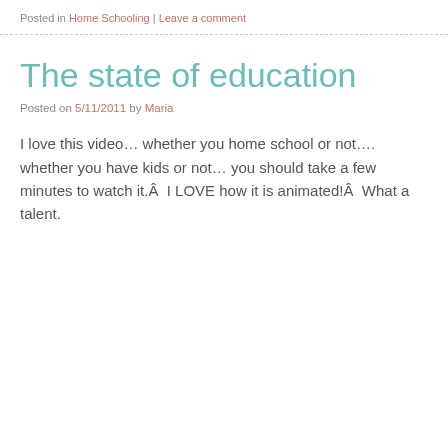Posted in Home Schooling | Leave a comment
The state of education
Posted on 5/11/2011 by Maria
I love this video… whether you home school or not…. whether you have kids or not… you should take a few minutes to watch it.Â  I LOVE how it is animated!Â  What a talent.